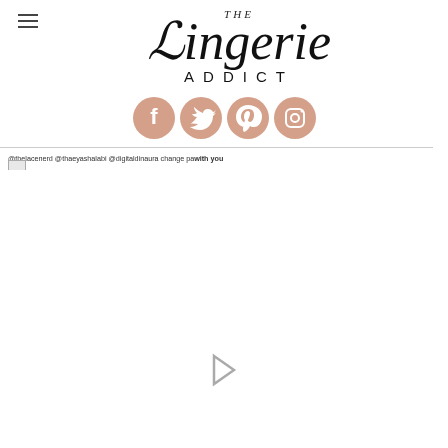The Lingerie Addict
[Figure (logo): The Lingerie Addict logo with stylized italic script for 'The Lingerie' and spaced capitals for 'ADDICT']
[Figure (infographic): Four social media icons in peach/salmon color: Facebook, Twitter, Pinterest, Instagram]
@thelacenerd @thaeyashalabi @digitaldinaura change path you
[Figure (photo): Video or image area with a play button, mostly white/light background]